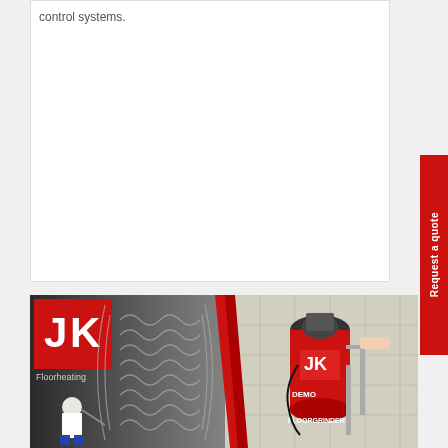control systems.
[Figure (photo): JK Floorheating advertisement showing a JK logo on red background with floor heating pipe layout diagram on the left, and a red JK FloorGrinder DEMO machine with a person operating it on the right.]
Request a quote